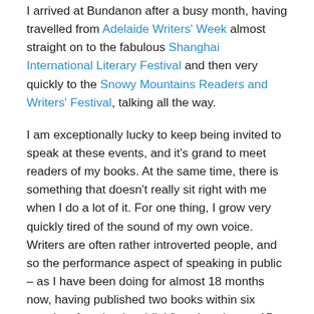I arrived at Bundanon after a busy month, having travelled from Adelaide Writers' Week almost straight on to the fabulous Shanghai International Literary Festival and then very quickly to the Snowy Mountains Readers and Writers' Festival, talking all the way.

I am exceptionally lucky to keep being invited to speak at these events, and it's grand to meet readers of my books. At the same time, there is something that doesn't really sit right with me when I do a lot of it. For one thing, I grow very quickly tired of the sound of my own voice. Writers are often rather introverted people, and so the performance aspect of speaking in public – as I have been doing for almost 18 months now, having published two books within six months of each other (d'oh!) and spoken at 15 literary festivals as well as assorted libraries and bookshops in that time – can start to erode your sense of